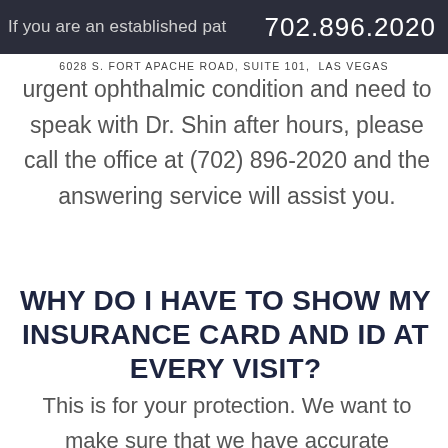If you are an established pat... 702.896.2020
6028 S. FORT APACHE ROAD, SUITE 101, LAS VEGAS
urgent ophthalmic condition and need to speak with Dr. Shin after hours, please call the office at (702) 896-2020 and the answering service will assist you.
WHY DO I HAVE TO SHOW MY INSURANCE CARD AND ID AT EVERY VISIT?
This is for your protection. We want to make sure that we have accurate information on file